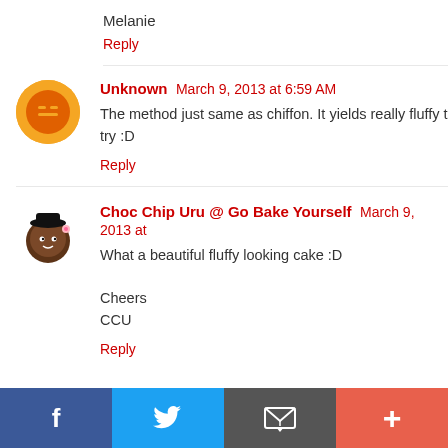Melanie
Reply
Unknown March 9, 2013 at 6:59 AM
The method just same as chiffon. It yields really fluffy t… try :D
Reply
[Figure (illustration): Cartoon avatar of a dark-skinned character with a hat]
Choc Chip Uru @ Go Bake Yourself March 9, 2013 at…
What a beautiful fluffy looking cake :D

Cheers
CCU
Reply
[Figure (infographic): Social sharing bar with Facebook, Twitter, Email, and Plus buttons]